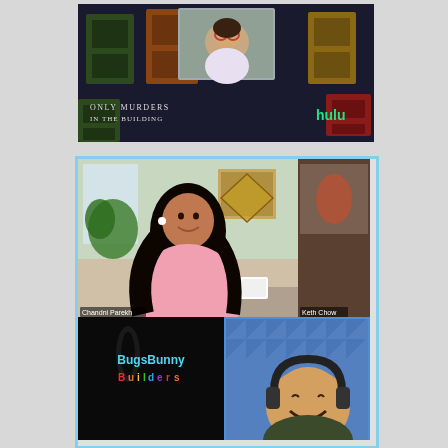[Figure (screenshot): Video call screenshot showing 'Only Murders in the Building' on Hulu. Features a person in a video thumbnail at top center, with the show title in stylized text at bottom left and the Hulu logo in green at bottom right. Background shows colorful door panels in dark tones.]
[Figure (screenshot): Video call screenshot with 'Bugs Bunny Builders' content. Top portion shows Chandni Parekh (labeled) smiling in a pink shirt in a home setting with artwork on wall, and Keth Chow (labeled) in a smaller panel on the right. Bottom portion shows the Bugs Bunny Builders logo on a dark background on the left, and a man with headphones smiling on the right in a blue-tiled room.]